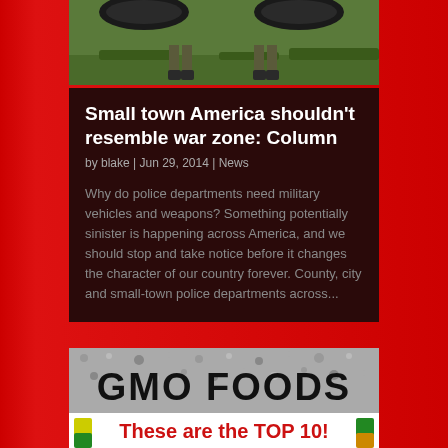[Figure (photo): Top portion of a photo showing military-style vehicle tires and two people standing on grass]
Small town America shouldn’t resemble war zone: Column
by blake | Jun 29, 2014 | News
Why do police departments need military vehicles and weapons? Something potentially sinister is happening across America, and we should stop and take notice before it changes the character of our country forever. County, city and small-town police departments across...
[Figure (infographic): GMO FOODS infographic thumbnail showing 'These are the TOP 10!' with colorful food icons on a gravel-texture background]